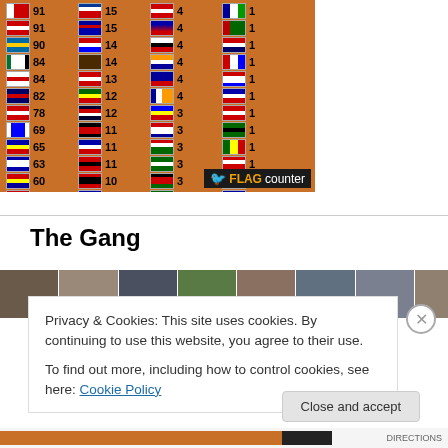[Figure (other): Flag counter widget showing country flags with visitor counts on orange background. Rows: 91, 91, 90, 84, 84, 82, 78, 69, 65, 63, 60, 57, 56 (left col); 15, 15, 14, 14, 13, 12, 12, 11, 11, 11, 10, 10, 10 (2nd col); 4,4,4,4,4,3,3,3,3,3,3,3 (3rd col); 1,1,1,1,1,1,1,1,1,1,1,1 (4th col). FLAG counter branding bottom right.]
The Gang
[Figure (photo): Row of partially visible portrait photos]
Privacy & Cookies: This site uses cookies. By continuing to use this website, you agree to their use.
To find out more, including how to control cookies, see here: Cookie Policy
Close and accept